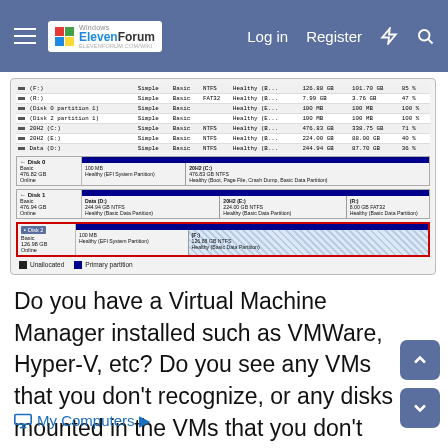ElevenForum — Log in  Register
[Figure (screenshot): Windows Disk Management screenshot showing three disks (Disk 0: 476.82GB, Disk 1: 476.94GB, Disk 2: 126.88GB) with their partitions. Disk 2 is highlighted with a red border. Table lists disk volumes including (F:), (R:), Disk 0 partition 1, Disk 2 partition 1, 20H2 (C:), 20H2 (E:), Data (D:). Legend shows Unallocated and Primary partition.]
Do you have a Virtual Machine Manager installed such as VMWare, Hyper-V, etc? Do you see any VMs that you don't recognize, or any disks mounted in the VMs that you don't recognize?
My Computers ▶